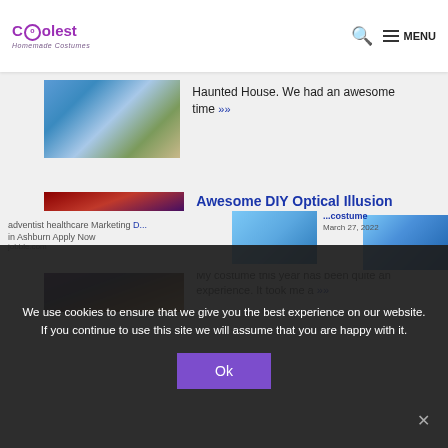Coolest Homemade Costumes — MENU
[Figure (photo): Partial top image of a Halloween haunted house costume display]
Haunted House. We had an awesome time »»
[Figure (photo): Group of people in Evil Krusty the Clown and Simpsons optical illusion costumes]
Awesome DIY Optical Illusion Costume: Evil Krusty the Clown and Simpsons
March 28, 2022
My costume this year has been quite an experience. It took me a »»
We use cookies to ensure that we give you the best experience on our website. If you continue to use this site we will assume that you are happy with it.
Ok